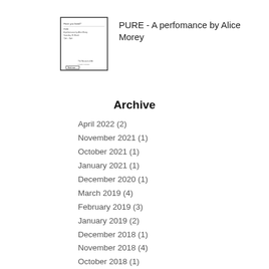[Figure (thumbnail): Small thumbnail image of a document/poster for PURE performance]
PURE - A perfomance by Alice Morey
Archive
April 2022 (2)
November 2021 (1)
October 2021 (1)
January 2021 (1)
December 2020 (1)
March 2019 (4)
February 2019 (3)
January 2019 (2)
December 2018 (1)
November 2018 (4)
October 2018 (1)
August 2018 (1)
July 2018 (3)
June 2018 (2)